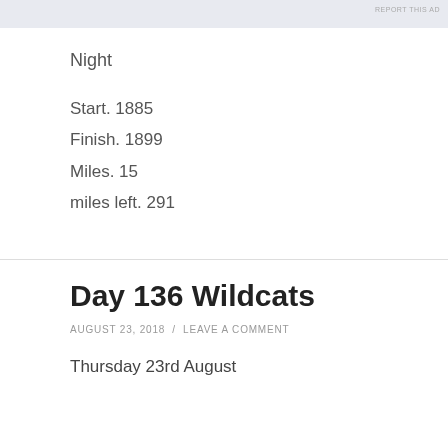[Figure (other): Ad banner at top of page]
Night
Start. 1885
Finish. 1899
Miles. 15
miles left. 291
Day 136 Wildcats
AUGUST 23, 2018 / LEAVE A COMMENT
Thursday 23rd August